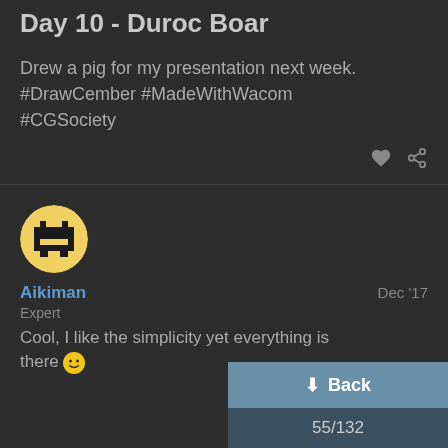Day 10 - Duroc Boar
Drew a pig for my presentation next week. #DrawCember #MadeWithWacom #CGSociety
Aikiman
Expert
Dec '17
Cool, I like the simplicity yet everything is there 🙂
Back
55/132